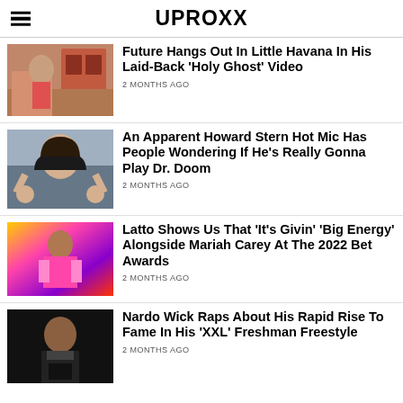UPROXX
[Figure (photo): Man shirtless outdoors near pink building]
Future Hangs Out In Little Havana In His Laid-Back 'Holy Ghost' Video
2 MONTHS AGO
[Figure (photo): Howard Stern with hands raised]
An Apparent Howard Stern Hot Mic Has People Wondering If He's Really Gonna Play Dr. Doom
2 MONTHS AGO
[Figure (photo): Latto in colorful outfit at awards show]
Latto Shows Us That 'It's Givin' 'Big Energy' Alongside Mariah Carey At The 2022 Bet Awards
2 MONTHS AGO
[Figure (photo): Nardo Wick in dark formal wear]
Nardo Wick Raps About His Rapid Rise To Fame In His 'XXL' Freshman Freestyle
2 MONTHS AGO